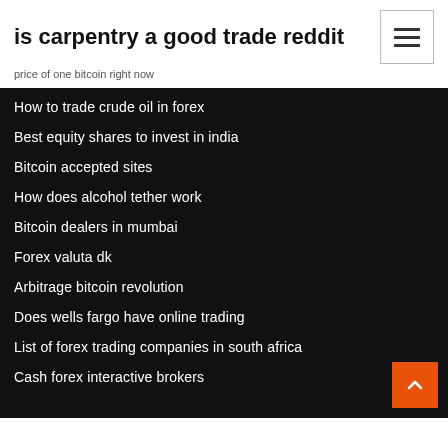is carpentry a good trade reddit
price of one bitcoin right now
How to trade crude oil in forex
Best equity shares to invest in india
Bitcoin accepted sites
How does alcohol tether work
Bitcoin dealers in mumbai
Forex valuta dk
Arbitrage bitcoin revolution
Does wells fargo have online trading
List of forex trading companies in south africa
Cash forex interactive brokers